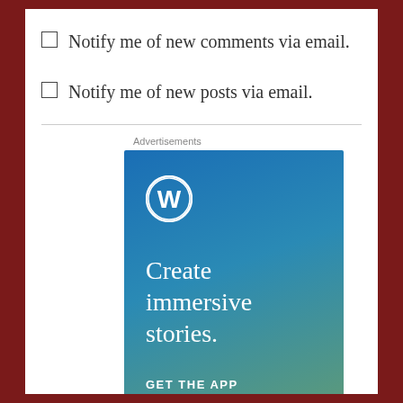Notify me of new comments via email.
Notify me of new posts via email.
Advertisements
[Figure (illustration): WordPress advertisement banner with blue-to-green gradient background, WordPress logo (W in circle), text 'Create immersive stories.' and 'GET THE APP' call to action button.]